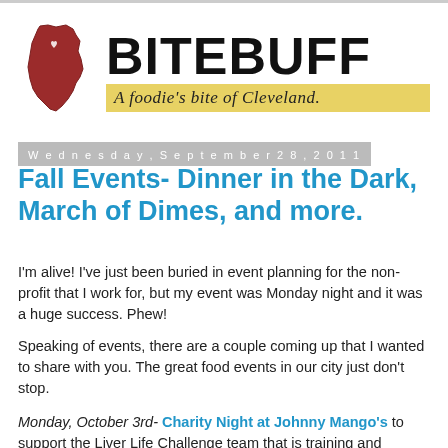[Figure (logo): BiteBuff blog logo: Ohio state map silhouette in dark red on the left, large bold text BITEBUFF on the right, and a gold/yellow banner below with italic script text 'A foodie's bite of Cleveland.']
Wednesday, September 28, 2011
Fall Events- Dinner in the Dark, March of Dimes, and more.
I'm alive! I've just been buried in event planning for the non-profit that I work for, but my event was Monday night and it was a huge success. Phew!
Speaking of events, there are a couple coming up that I wanted to share with you. The great food events in our city just don't stop.
Monday, October 3rd- Charity Night at Johnny Mango's to support the Liver Life Challenge team that is training and